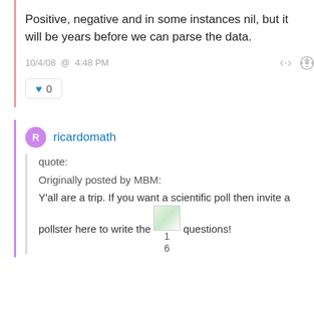Positive, negative and in some instances nil, but it will be years before we can parse the data.
10/4/08  @  4:48 PM
♥ 0
ricardomath
quote:
Originally posted by MBM:
Y'all are a trip. If you want a scientific poll then invite a pollster here to write the questions!